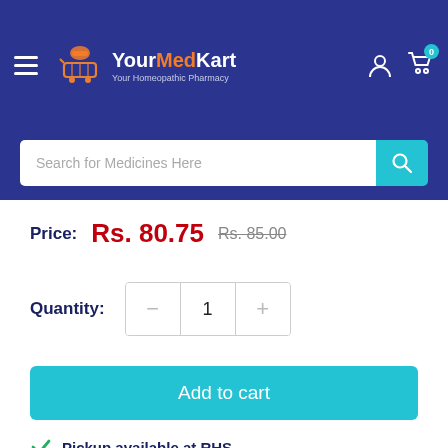[Figure (logo): YourMedKart logo with shopping cart icon - Your Homeopathic Pharmacy]
Search for Medicines Here
Price: Rs. 80.75  Rs. 85.00
Quantity: 1
Add to cart
Pickup available at RHS
Usually ready in 24 hours